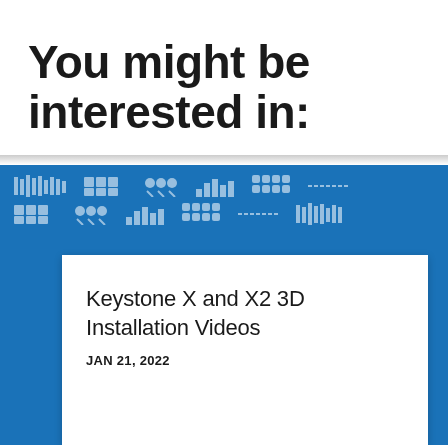You might be interested in:
[Figure (screenshot): Blue background panel with repeating small icon grid patterns, containing a white card. The card shows title 'Keystone X and X2 3D Installation Videos' and date 'JAN 21, 2022'.]
Keystone X and X2 3D Installation Videos
JAN 21, 2022